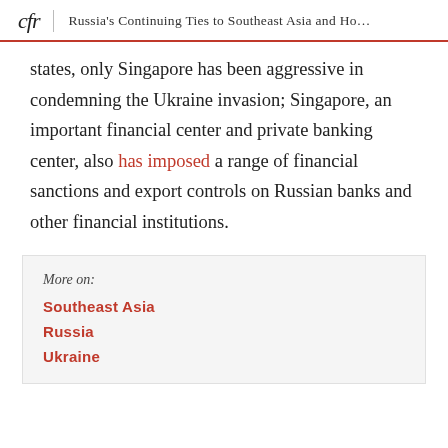cfr | Russia's Continuing Ties to Southeast Asia and Ho...
states, only Singapore has been aggressive in condemning the Ukraine invasion; Singapore, an important financial center and private banking center, also has imposed a range of financial sanctions and export controls on Russian banks and other financial institutions.
More on:
Southeast Asia
Russia
Ukraine